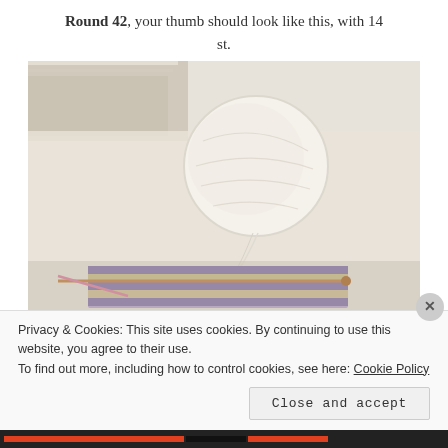Round 42, your thumb should look like this, with 14 st.
[Figure (photo): A ball of cream/white yarn sitting on a light wooden surface, with knitting needles and a partially knitted swatch in purple and cream colors visible in the lower portion of the image.]
Privacy & Cookies: This site uses cookies. By continuing to use this website, you agree to their use.
To find out more, including how to control cookies, see here: Cookie Policy
Close and accept